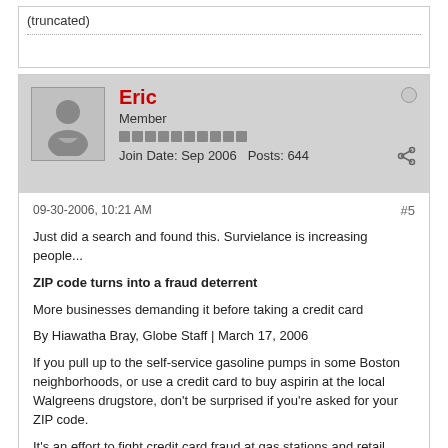(truncated)
Eric
Member
Join Date: Sep 2006  Posts: 644
09-30-2006, 10:21 AM
#5
Just did a search and found this. Survielance is increasing people...
ZIP code turns into a fraud deterrent
More businesses demanding it before taking a credit card
By Hiawatha Bray, Globe Staff | March 17, 2006
If you pull up to the self-service gasoline pumps in some Boston neighborhoods, or use a credit card to buy aspirin at the local Walgreens drugstore, don't be surprised if you're asked for your ZIP code.
It's an effort to fight credit card fraud at gas stations and retail stores. A thief usually won't know the ZIP code associated with the card he's using. So requiring the ZIP code is a simple way to reduce fraudulent purchases. Gasoline retailers say they ask for ZIP codes in areas where credit fraud is a problem.